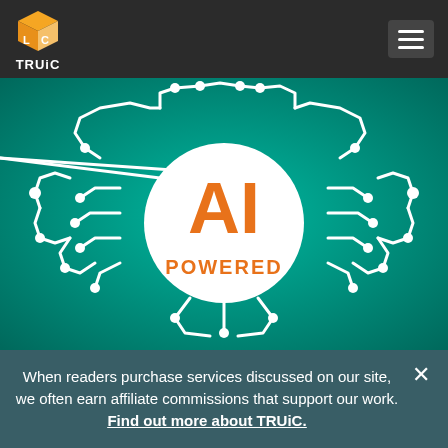[Figure (logo): TRUiC logo — orange and white 3D cube icon with letters L and C, with 'TRUiC' text below, on dark gray background]
[Figure (illustration): AI-powered brain circuit board illustration on teal/green gradient background. A white circle in the center contains orange bold text 'AI' and below it 'POWERED'. White circuit lines and nodes radiate outward in a brain shape.]
When readers purchase services discussed on our site, we often earn affiliate commissions that support our work. Find out more about TRUiC.